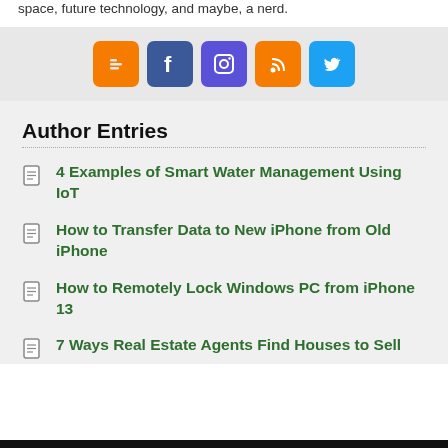space, future technology, and maybe, a nerd.
[Figure (infographic): Social media icons: Blogger (orange), Facebook (dark blue), Instagram (purple), RSS (orange), Twitter (blue)]
Author Entries
4 Examples of Smart Water Management Using IoT
How to Transfer Data to New iPhone from Old iPhone
How to Remotely Lock Windows PC from iPhone 13
7 Ways Real Estate Agents Find Houses to Sell